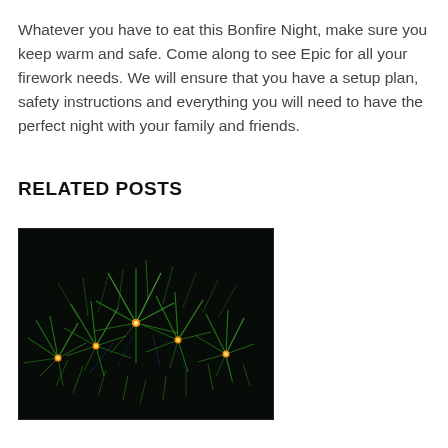Whatever you have to eat this Bonfire Night, make sure you keep warm and safe. Come along to see Epic for all your firework needs. We will ensure that you have a setup plan, safety instructions and everything you will need to have the perfect night with your family and friends.
RELATED POSTS
[Figure (photo): Photograph of green fireworks bursting against a dark night sky, with multiple bright orange-yellow centers and cascading green sparks spreading outward.]